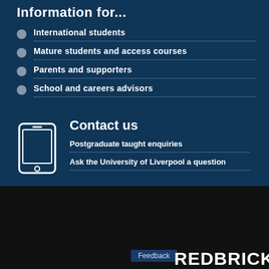Information for...
International students
Mature students and access courses
Parents and supporters
School and careers advisors
Contact us
Postgraduate taught enquiries
Ask the University of Liverpool a question
[Figure (logo): THE ORIGINAL REDBRICK logo on black background with white border box]
Feedback
REDBRICK